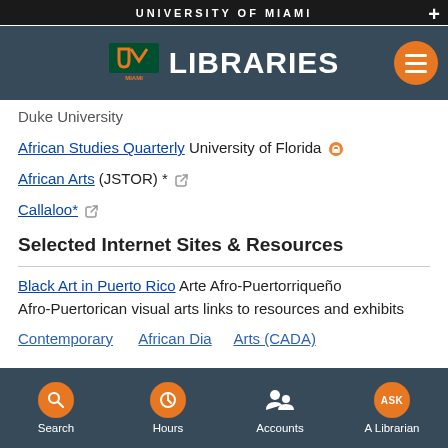UNIVERSITY OF MIAMI
[Figure (logo): University of Miami Libraries logo with UM mark and LIBRARIES text]
Duke University
African Studies Quarterly University of Florida [open access icon]
African Arts (JSTOR) * [link icon]
Callaloo* [link icon]
Selected Internet Sites & Resources
Black Art in Puerto Rico Arte Afro-Puertorriqueño
Afro-Puertorican visual arts links to resources and exhibits
Contemporary African Diaspora Arts (CADA)
Search   Hours   Accounts   A Librarian